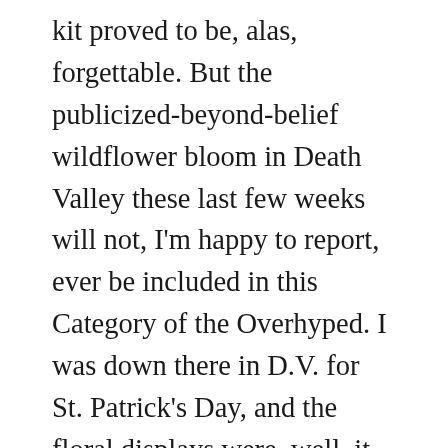kit proved to be, alas, forgettable. But the publicized-beyond-belief wildflower bloom in Death Valley these last few weeks will not, I'm happy to report, ever be included in this Category of the Overhyped. I was down there in D.V. for St. Patrick's Day, and the floral displays were, well, it was prime-time eye candy. Good enough to where, in years to come, one can imagine there will be loads of seniors sitting around the ole video campfire on the 52-inch plasma screen inside the